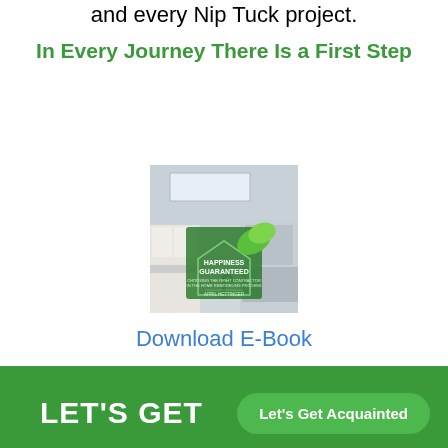and every Nip Tuck project.
In Every Journey There Is a First Step
[Figure (photo): Book cover for 'Happiness Guaranteed' by April Hettinger, showing a modern kitchen interior with green leaf logo overlay]
Download E-Book
LET'S GET
Let's Get Acquainted